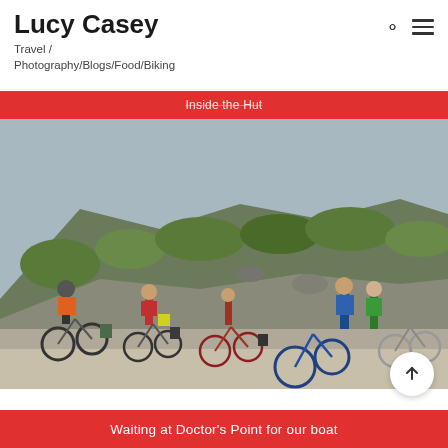Lucy Casey
Travel / Photography/Blogs/Food/Biking
Inside the Hut
[Figure (photo): Group of cyclists with bikes stopped on a gravel road in front of a hillside with green scrub vegetation. Several people wearing helmets and colorful cycling gear stand with loaded bikes.]
Waiting at Doctor's Point for our boat